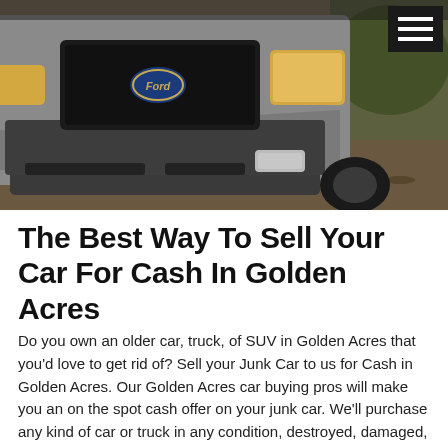[Figure (photo): Front view of a gray/silver Ford SUV (Ford Escape) parked on dirt ground with leaves, photographed close up showing the front bumper, grille with Ford logo, and headlights. A hamburger menu icon appears in the top-right corner over a black background.]
The Best Way To Sell Your Car For Cash In Golden Acres
Do you own an older car, truck, of SUV in Golden Acres that you'd love to get rid of? Sell your Junk Car to us for Cash in Golden Acres. Our Golden Acres car buying pros will make you an on the spot cash offer on your junk car. We'll purchase any kind of car or truck in any condition, destroyed, damaged, old, broken down, running or not. When you need to sell a junk vehicle in Golden Acres, we're your go to